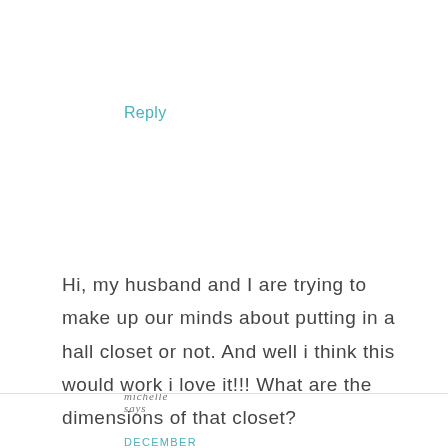Reply
michelle says
DECEMBER 27, 2017 AT 10:29 AM
Hi, my husband and I are trying to make up our minds about putting in a hall closet or not. And well i think this would work i love it!!! What are the dimensions of that closet?
Reply